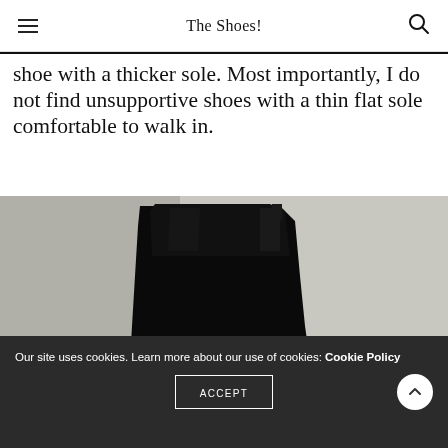The Shoes!
shoe with a thicker sole. Most importantly, I do not find unsupportive shoes with a thin flat sole comfortable to walk in.
[Figure (photo): Close-up photo of a black leather ankle boot/chelsea boot with a block heel, photographed against a light grey background.]
Our site uses cookies. Learn more about our use of cookies: Cookie Policy